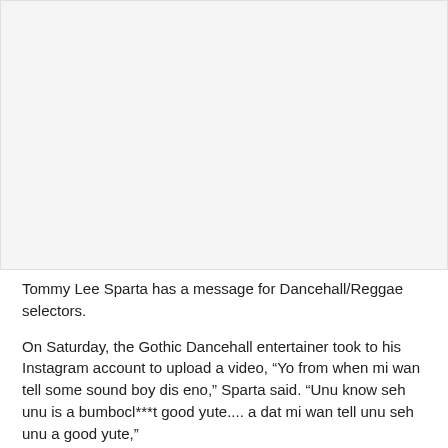[Figure (photo): Image placeholder area at top of page]
Tommy Lee Sparta has a message for Dancehall/Reggae selectors.
On Saturday, the Gothic Dancehall entertainer took to his Instagram account to upload a video, “Yo from when mi wan tell some sound boy dis eno,” Sparta said. “Unu know seh unu is a bumbocl***t good yute.... a dat mi wan tell unu seh unu a good yute,”